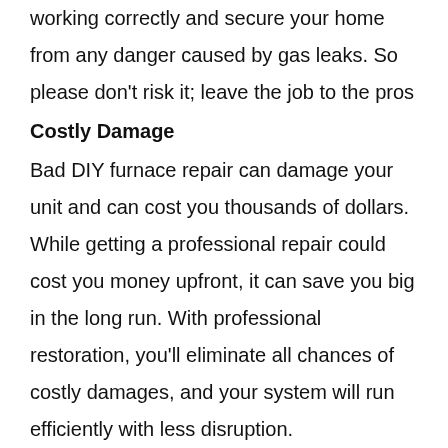working correctly and secure your home from any danger caused by gas leaks. So please don't risk it; leave the job to the pros
Costly Damage
Bad DIY furnace repair can damage your unit and can cost you thousands of dollars. While getting a professional repair could cost you money upfront, it can save you big in the long run. With professional restoration, you'll eliminate all chances of costly damages, and your system will run efficiently with less disruption.
You'll Void Your Warranty
Manufacturers have strict guidelines when it comes to the warranty they offer. As a customer, you need to adhere to the recommendations to keep your contract valid. Best advice is calling professional technicians to handle the repair jobs.